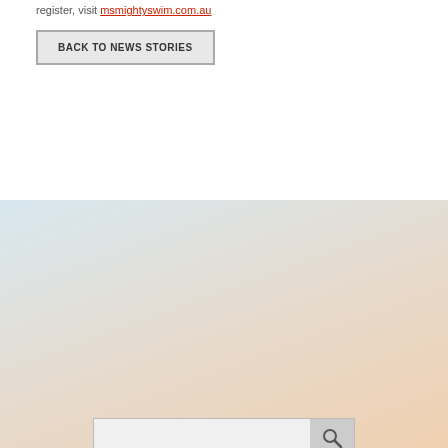register, visit msmightyswim.com.au
BACK TO NEWS STORIES
[Figure (other): Search bar with magnifying glass icon]
[Figure (other): Social media icons: Facebook, Twitter, Instagram, LinkedIn, YouTube, Blogger]
© 2022 The MS Society SA & NT. All rights reserved.
Home   Privacy policy   Terms of use   Social media terms of use   Sitemap   Get in Touch